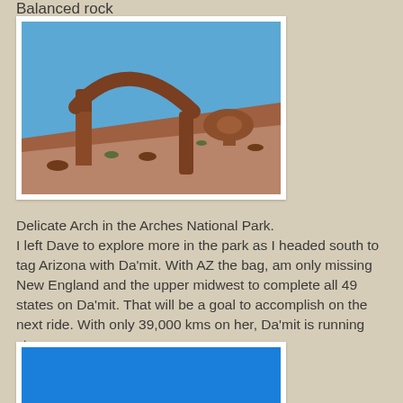Balanced rock
[Figure (photo): Delicate Arch in the Arches National Park — a red sandstone arch against a clear blue sky, with a large balanced rock formation to the right.]
Delicate Arch in the Arches National Park. I left Dave to explore more in the park as I headed south to tag Arizona with Da'mit. With AZ the bag, am only missing New England and the upper midwest to complete all 49 states on Da'mit. That will be a goal to accomplish on the next ride. With only 39,000 kms on her, Da'mit is running strong.
[Figure (photo): Partially visible photo with a bright blue sky or blue background, cropped at the bottom of the page.]